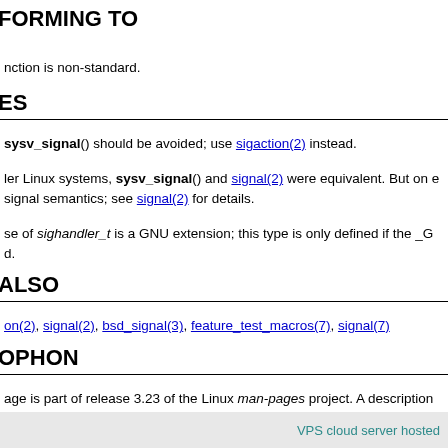FORMING TO
nction is non-standard.
ES
sysv_signal() should be avoided; use sigaction(2) instead.
ler Linux systems, sysv_signal() and signal(2) were equivalent. But on e signal semantics; see signal(2) for details.
se of sighandler_t is a GNU extension; this type is only defined if the _G d.
ALSO
on(2), signal(2), bsd_signal(3), feature_test_macros(7), signal(7)
OPHON
age is part of release 3.23 of the Linux man-pages project. A description o ng bugs, can be found at http://www.kernel.org/doc/man-pages/.
VPS cloud server hosted